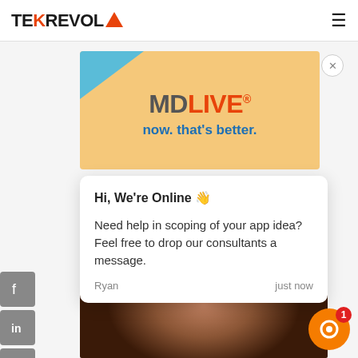TEKREVOL
[Figure (advertisement): MDLIVE advertisement banner with orange background, teal corner accent, MDLIVE logo in grey and orange, tagline 'now. that's better.' in blue]
[Figure (screenshot): Chat popup widget saying 'Hi, We're Online' with waving hand emoji, message about scoping app idea, from Ryan, just now]
[Figure (photo): Close-up photo of a man in a suit looking up, partially visible at bottom of page]
[Figure (other): Orange circular chat widget button with red badge showing notification count 1]